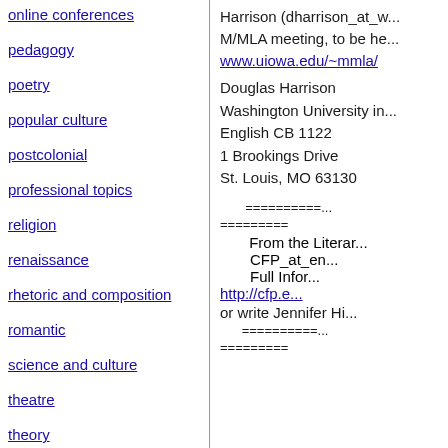online conferences
pedagogy
poetry
popular culture
postcolonial
professional topics
religion
renaissance
rhetoric and composition
romantic
science and culture
theatre
theory
translation studies
Harrison (dharrison_at_w... M/MLA meeting, to be he... www.uiowa.edu/~mmla/
Douglas Harrison
Washington University in...
English CB 1122
1 Brookings Drive
St. Louis, MO 63130
========== =========
From the Literar... CFP_at_en... Full Infor... http://cfp.e... or write Jennifer Hi... ========== =========